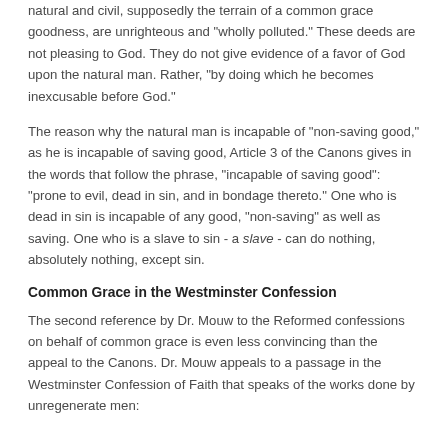natural and civil, supposedly the terrain of a common grace goodness, are unrighteous and "wholly polluted." These deeds are not pleasing to God. They do not give evidence of a favor of God upon the natural man. Rather, "by doing which he becomes inexcusable before God."
The reason why the natural man is incapable of "non-saving good," as he is incapable of saving good, Article 3 of the Canons gives in the words that follow the phrase, "incapable of saving good": "prone to evil, dead in sin, and in bondage thereto." One who is dead in sin is incapable of any good, "non-saving" as well as saving. One who is a slave to sin - a slave - can do nothing, absolutely nothing, except sin.
Common Grace in the Westminster Confession
The second reference by Dr. Mouw to the Reformed confessions on behalf of common grace is even less convincing than the appeal to the Canons. Dr. Mouw appeals to a passage in the Westminster Confession of Faith that speaks of the works done by unregenerate men: